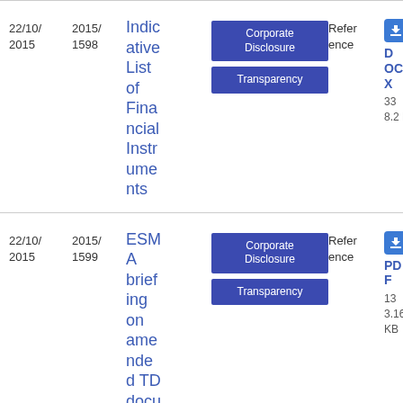| Date | Reference | Title | Tags | Type | Download |
| --- | --- | --- | --- | --- | --- |
| 22/10/2015 | 2015/1598 | Indicative List of Financial Instruments | Corporate Disclosure, Transparency | Reference | DOCX
33
8.2 KB |
| 22/10/2015 | 2015/1599 | ESMA briefing on amended TD document | Corporate Disclosure, Transparency | Reference | PDF
13
3.16 KB |